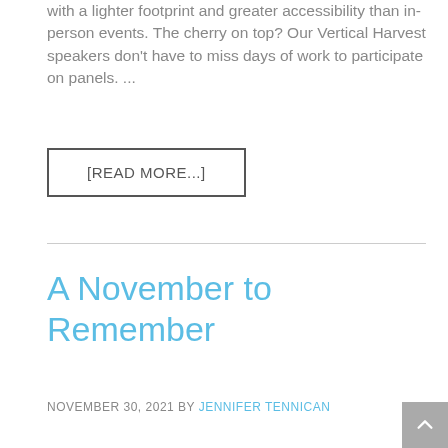with a lighter footprint and greater accessibility than in-person events. The cherry on top? Our Vertical Harvest speakers don't have to miss days of work to participate on panels. ...
[READ MORE...]
A November to Remember
NOVEMBER 30, 2021 by JENNIFER TENNICAN